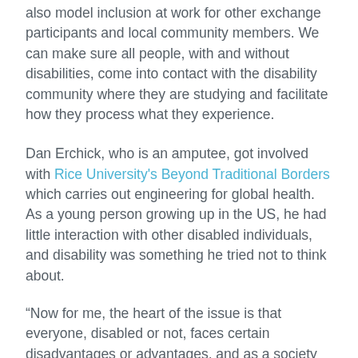also model inclusion at work for other exchange participants and local community members. We can make sure all people, with and without disabilities, come into contact with the disability community where they are studying and facilitate how they process what they experience.
Dan Erchick, who is an amputee, got involved with Rice University's Beyond Traditional Borders which carries out engineering for global health. As a young person growing up in the US, he had little interaction with other disabled individuals, and disability was something he tried not to think about.
“Now for me, the heart of the issue is that everyone, disabled or not, faces certain disadvantages or advantages, and as a society we must level the playing field so that all have access and opportunity…